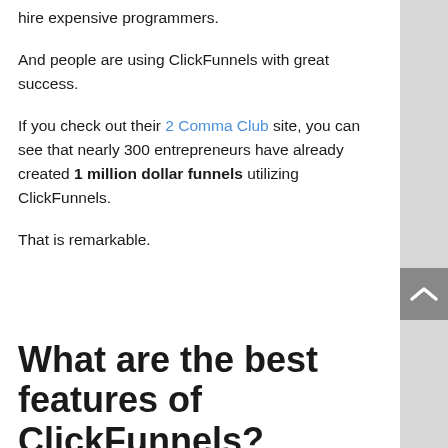hire expensive programmers.
And people are using ClickFunnels with great success.
If you check out their 2 Comma Club site, you can see that nearly 300 entrepreneurs have already created 1 million dollar funnels utilizing ClickFunnels.
That is remarkable.
What are the best features of ClickFunnels?